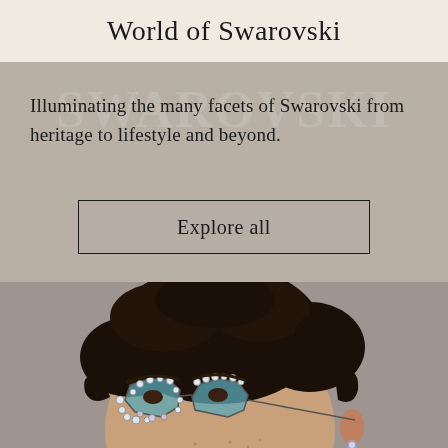World of Swarovski
Illuminating the many facets of Swarovski from heritage to lifestyle and beyond.
Explore all
[Figure (photo): Close-up portrait of a person with short dark curly hair wearing ornate octagonal crystal-embellished blue-tinted sunglasses, photographed against a beige/taupe background]